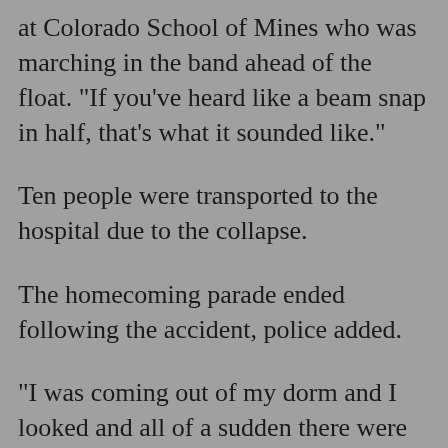at Colorado School of Mines who was marching in the band ahead of the float. "If you've heard like a beam snap in half, that's what it sounded like."
Ten people were transported to the hospital due to the collapse.
The homecoming parade ended following the accident, police added.
"I was coming out of my dorm and I looked and all of a sudden there were all these police cars and ambulances and obviously I thought